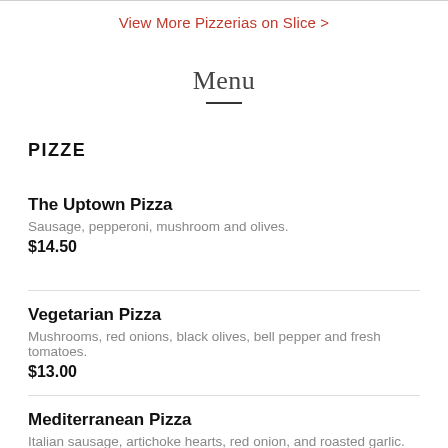View More Pizzerias on Slice >
Menu
PIZZE
The Uptown Pizza — Sausage, pepperoni, mushroom and olives. $14.50
Vegetarian Pizza — Mushrooms, red onions, black olives, bell pepper and fresh tomatoes. $13.00
Mediterranean Pizza — Italian sausage, artichoke hearts, red onion, and roasted garlic.